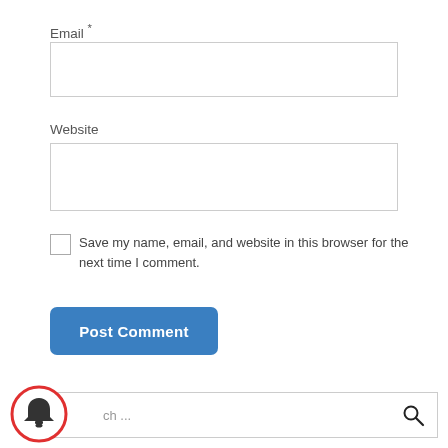Email *
[Figure (screenshot): Empty email input text field with light gray border]
Website
[Figure (screenshot): Empty website input text field with light gray border]
Save my name, email, and website in this browser for the next time I comment.
[Figure (screenshot): Blue rounded Post Comment button]
[Figure (screenshot): Search bar with placeholder text 'ch ...' and a magnifying glass icon, with a red notification bell icon overlaid on the left side]